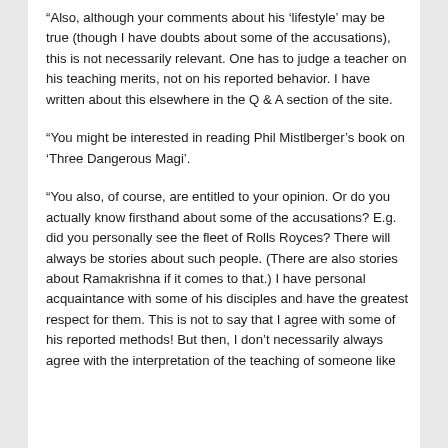“Also, although your comments about his ‘lifestyle’ may be true (though I have doubts about some of the accusations), this is not necessarily relevant. One has to judge a teacher on his teaching merits, not on his reported behavior. I have written about this elsewhere in the Q & A section of the site.
“You might be interested in reading Phil Mistlberger’s book on ‘Three Dangerous Magi’.
“You also, of course, are entitled to your opinion. Or do you actually know firsthand about some of the accusations? E.g. did you personally see the fleet of Rolls Royces? There will always be stories about such people. (There are also stories about Ramakrishna if it comes to that.) I have personal acquaintance with some of his disciples and have the greatest respect for them. This is not to say that I agree with some of his reported methods! But then, I don’t necessarily always agree with the interpretation of the teaching of someone like